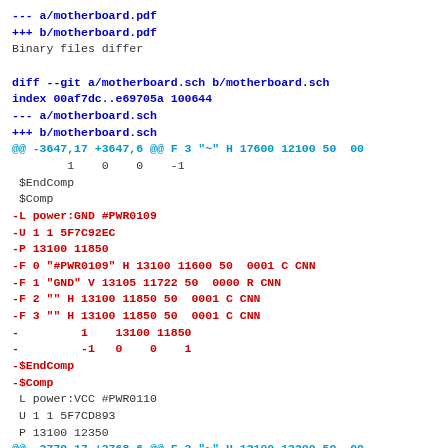--- a/motherboard.pdf
+++ b/motherboard.pdf
Binary files differ

diff --git a/motherboard.sch b/motherboard.sch
index 00af7dc..e69705a 100644
--- a/motherboard.sch
+++ b/motherboard.sch
@@ -3647,17 +3647,6 @@ F 3 "~" H 17600 12100 50  00
        1    0    0    -1
 $EndComp
 $Comp
-L power:GND #PWR0109
-U 1 1 5F7C92EC
-P 13100 11850
-F 0 "#PWR0109" H 13100 11600 50  0001 C CNN
-F 1 "GND" V 13105 11722 50  0000 R CNN
-F 2 "" H 13100 11850 50  0001 C CNN
-F 3 "" H 13100 11850 50  0001 C CNN
-         1    13100 11850
-         -1   0    0    1
-$EndComp
-$Comp
 L power:VCC #PWR0110
 U 1 1 5F7CD893
 P 13100 12350
@@ -3779,17 +3768,6 @@ F 3 "~" H 13100 13200 50  00
        1    0    0    -1
 $EndComp
 $Comp